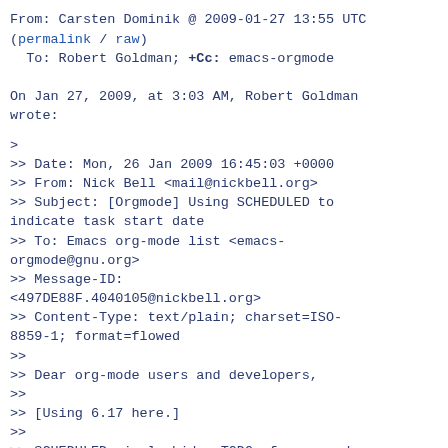From: Carsten Dominik @ 2009-01-27 13:55 UTC
(permalink / raw)
  To: Robert Goldman; +Cc: emacs-orgmode
On Jan 27, 2009, at 3:03 AM, Robert Goldman wrote:
>
>> Date: Mon, 26 Jan 2009 16:45:03 +0000
>> From: Nick Bell <mail@nickbell.org>
>> Subject: [Orgmode] Using SCHEDULED to indicate task start date
>> To: Emacs org-mode list <emacs-orgmode@gnu.org>
>> Message-ID: <497DE88F.4040105@nickbell.org>
>> Content-Type: text/plain; charset=ISO-8859-1; format=flowed
>>
>> Dear org-mode users and developers,
>>
>> [Using 6.17 here.]
>>
>> SCHEDULED nicely hides TODOs from agenda views until on/after the
>> SCHEDULED date.
>>
>> I'd like to hide TODOs whose SCHEDULED date is in the future from the